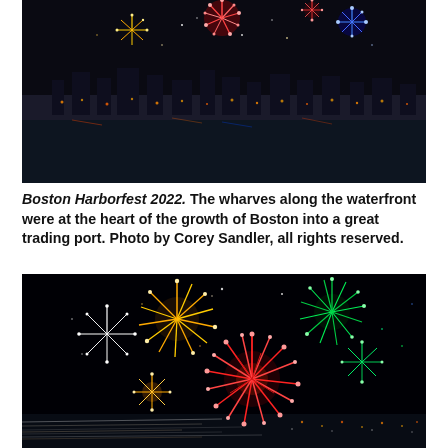[Figure (photo): Aerial night view of Boston Harborfest 2022 fireworks over the waterfront, showing the city skyline, harbor, and colorful fireworks in the dark sky including red, blue, and gold bursts.]
Boston Harborfest 2022. The wharves along the waterfront were at the heart of the growth of Boston into a great trading port. Photo by Corey Sandler, all rights reserved.
[Figure (photo): Close-up night photograph of Boston Harborfest 2022 fireworks display showing vibrant multicolored firework bursts (red, green, gold, white) against a black sky with city lights visible at the bottom.]